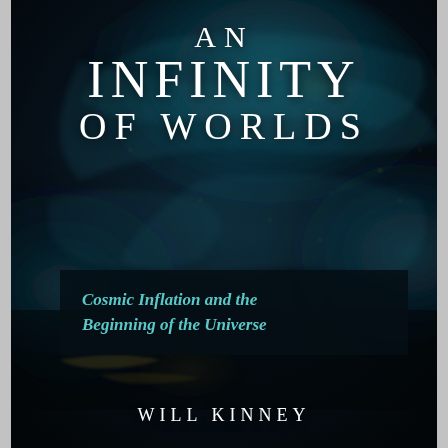[Figure (illustration): Book cover of 'An Infinity of Worlds' by Will Kinney. Dark cosmic background with swirling teal/blue nebular clouds and gold dust particles suggesting space and galaxies.]
AN INFINITY OF WORLDS
Cosmic Inflation and the Beginning of the Universe
WILL KINNEY